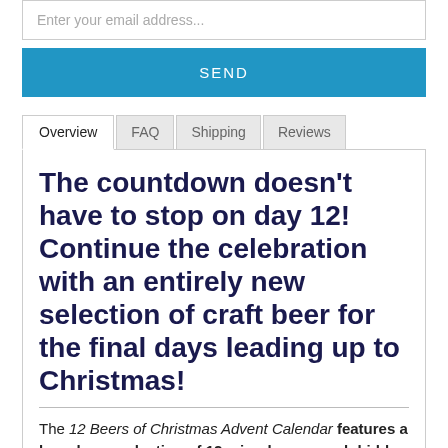Enter your email address...
SEND
Overview | FAQ | Shipping | Reviews
The countdown doesn't have to stop on day 12! Continue the celebration with an entirely new selection of craft beer for the final days leading up to Christmas!
The 12 Beers of Christmas Advent Calendar features a brand new selection of 12 microbrews, each hidden behind a secret door to ring in the holiday season. What could be better for getting in the